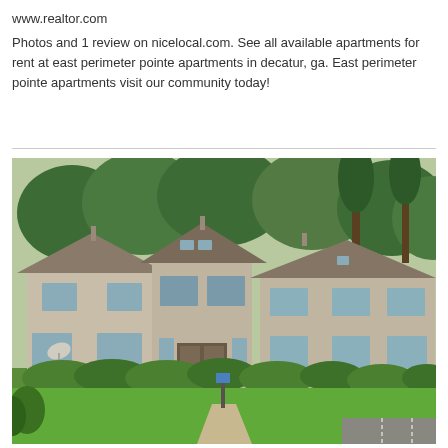www.realtor.com
Photos and 1 review on nicelocal.com. See all available apartments for rent at east perimeter pointe apartments in decatur, ga. East perimeter pointe apartments visit our community today!
[Figure (photo): Exterior photo of East Perimeter Pointe apartment complex in Decatur, GA. Shows a row of two-story beige/tan townhouse-style apartment buildings with tan siding, pitched roofs with skylights, surrounded by lush green trees and manicured shrubs and lawn. A concrete walkway leads to a central entrance.]